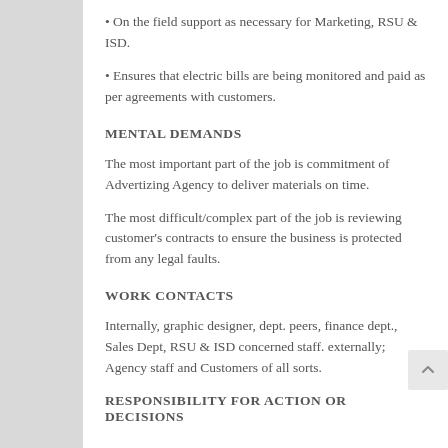• On the field support as necessary for Marketing, RSU & ISD.
• Ensures that electric bills are being monitored and paid as per agreements with customers.
MENTAL DEMANDS
The most important part of the job is commitment of Advertizing Agency to deliver materials on time.
The most difficult/complex part of the job is reviewing customer's contracts to ensure the business is protected from any legal faults.
WORK CONTACTS
Internally, graphic designer, dept. peers, finance dept., Sales Dept, RSU & ISD concerned staff. externally; Agency staff and Customers of all sorts.
RESPONSIBILITY FOR ACTION OR DECISIONS